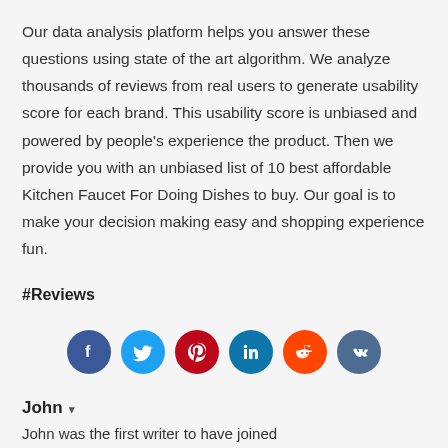Our data analysis platform helps you answer these questions using state of the art algorithm. We analyze thousands of reviews from real users to generate usability score for each brand. This usability score is unbiased and powered by people's experience the product. Then we provide you with an unbiased list of 10 best affordable Kitchen Faucet For Doing Dishes to buy. Our goal is to make your decision making easy and shopping experience fun.
#Reviews
[Figure (infographic): Six social media share buttons in circles: Facebook (dark blue), Twitter (light blue), Pinterest (red), LinkedIn (teal/blue), Reddit (orange-red), VK (dark blue-gray)]
John ▾
John was the first writer to have joined